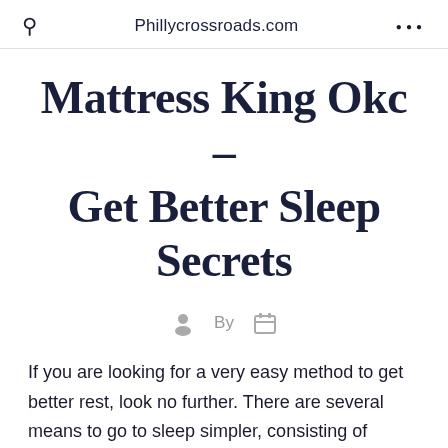Phillycrossroads.com
Mattress King Okc – Get Better Sleep Secrets
By
If you are looking for a very easy method to get better rest, look no further. There are several means to go to sleep simpler, consisting of making lifestyle